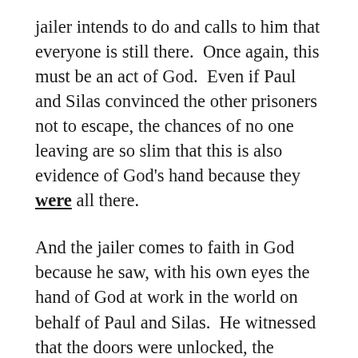jailer intends to do and calls to him that everyone is still there.  Once again, this must be an act of God.  Even if Paul and Silas convinced the other prisoners not to escape, the chances of no one leaving are so slim that this is also evidence of God's hand because they were all there.
And the jailer comes to faith in God because he saw, with his own eyes the hand of God at work in the world on behalf of Paul and Silas.  He witnessed that the doors were unlocked, the chains loosened, and the iron shackles unbound, and he witnessed the power that kept a jail full of prisoners from escaping when the doors stood wide open.  And he experienced the